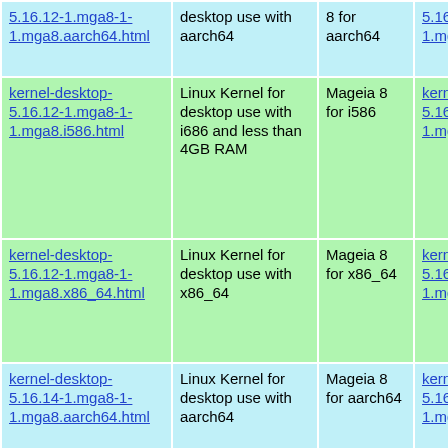| Link | Description | Distro | RPM |
| --- | --- | --- | --- |
| 5.16.12-1.mga8-1-1.mga8.aarch64.html | desktop use with aarch64 | 8 for aarch64 | 5.16.12-1.mga8-1-1.mga8.aarch64.rpm |
| kernel-desktop-5.16.12-1.mga8-1-1.mga8.i586.html | Linux Kernel for desktop use with i686 and less than 4GB RAM | Mageia 8 for i586 | kernel-desktop-5.16.12-1.mga8-1-1.mga8.i586.rpm |
| kernel-desktop-5.16.12-1.mga8-1-1.mga8.x86_64.html | Linux Kernel for desktop use with x86_64 | Mageia 8 for x86_64 | kernel-desktop-5.16.12-1.mga8-1-1.mga8.x86_64.rpm |
| kernel-desktop-5.16.14-1.mga8-1-1.mga8.aarch64.html | Linux Kernel for desktop use with aarch64 | Mageia 8 for aarch64 | kernel-desktop-5.16.14-1.mga8-1-1.mga8.aarch64.rpm |
|  | Linux Kernel for desktop... |  |  |